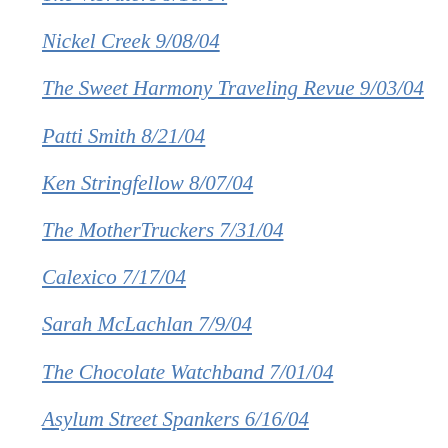The Vibrators 9/16/04
Nickel Creek 9/08/04
The Sweet Harmony Traveling Revue 9/03/04
Patti Smith 8/21/04
Ken Stringfellow 8/07/04
The MotherTruckers 7/31/04
Calexico 7/17/04
Sarah McLachlan 7/9/04
The Chocolate Watchband 7/01/04
Asylum Street Spankers 6/16/04